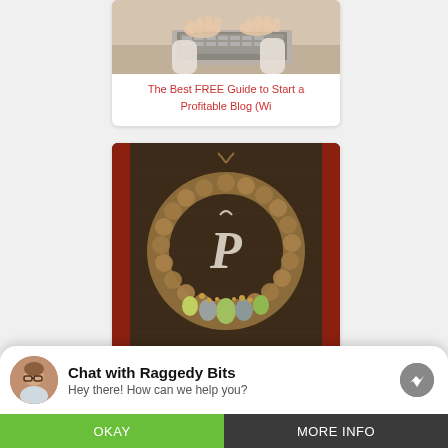[Figure (photo): Hands typing on a laptop keyboard, close-up view from above, partial card view at top of page]
The Best FREE Guide to Start a Profitable Blog (Wi
[Figure (photo): A burlap polka dot spring wreath with monogram letter P and Easter eggs at the bottom, hanging on a dark wood door with red frame]
Polka Dot Spring Wreath - Life on
Chat with Raggedy Bits
Hey there! How can we help you?
OKAY
MORE INFO